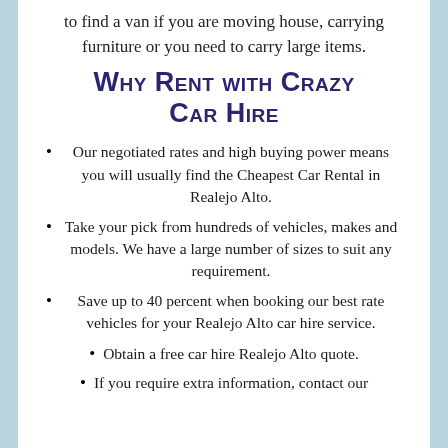to find a van if you are moving house, carrying furniture or you need to carry large items.
Why Rent with Crazy Car Hire
Our negotiated rates and high buying power means you will usually find the Cheapest Car Rental in Realejo Alto.
Take your pick from hundreds of vehicles, makes and models. We have a large number of sizes to suit any requirement.
Save up to 40 percent when booking our best rate vehicles for your Realejo Alto car hire service.
Obtain a free car hire Realejo Alto quote.
If you require extra information, contact our